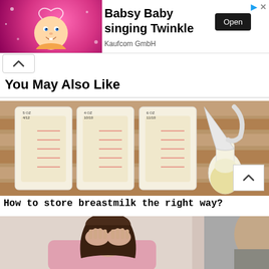[Figure (illustration): Advertisement banner: cartoon baby character on pink sparkly background. Title 'Babsy Baby singing Twinkle', subtitle 'Kaufcom GmbH', with Open button.]
[Figure (other): Collapse/up arrow button]
You May Also Like
[Figure (photo): Photo of breast milk storage bags filled with milk next to a manual breast pump on a wooden surface.]
How to store breastmilk the right way?
[Figure (photo): Photo of a woman with dark hair covering her face with her hands, and a man partially visible on the right side.]